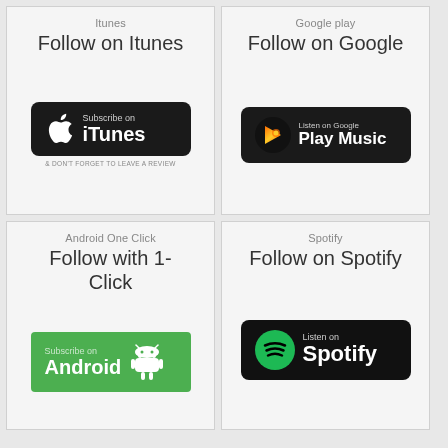Itunes
Follow on Itunes
[Figure (logo): Subscribe on iTunes badge with Apple logo, black background, rounded corners. Below: '& DON'T FORGET TO LEAVE A REVIEW']
Google play
Follow on Google
[Figure (logo): Listen on Google Play Music badge with colorful play button triangle icon, black background, rounded corners]
Android One Click
Follow with 1-Click
[Figure (logo): Subscribe on Android badge with Android robot icon, green background]
Spotify
Follow on Spotify
[Figure (logo): Listen on Spotify badge with Spotify swirl logo in green circle, black background, rounded corners]